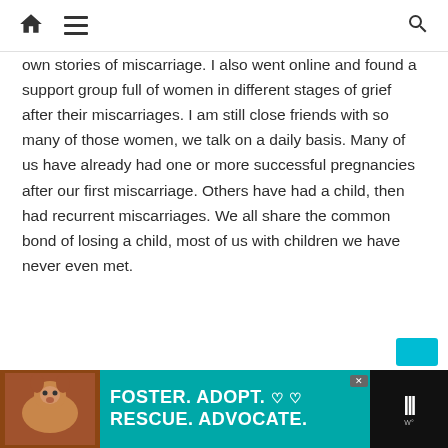[Home icon] [Menu icon] [Search icon]
own stories of miscarriage. I also went online and found a support group full of women in different stages of grief after their miscarriages. I am still close friends with so many of those women, we talk on a daily basis. Many of us have already had one or more successful pregnancies after our first miscarriage. Others have had a child, then had recurrent miscarriages. We all share the common bond of losing a child, most of us with children we have never even met.
[Figure (other): Advertisement banner: Dog photo on left, teal background with text FOSTER. ADOPT. ♡ ♡ RESCUE. ADVOCATE. Close button top right of ad area. Right side dark panel with logo dots.]